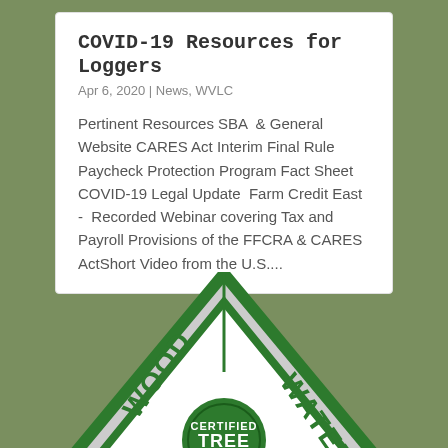COVID-19 Resources for Loggers
Apr 6, 2020 | News, WVLC
Pertinent Resources SBA  & General Website CARES Act Interim Final Rule Paycheck Protection Program Fact Sheet COVID-19 Legal Update  Farm Credit East -  Recorded Webinar covering Tax and Payroll Provisions of the FFCRA & CARES ActShort Video from the U.S....
[Figure (logo): Certified Tree Farm logo with diamond shape, showing WOOD and WATER text on left and right sides, and CERTIFIED TREE FARM text in center badge]